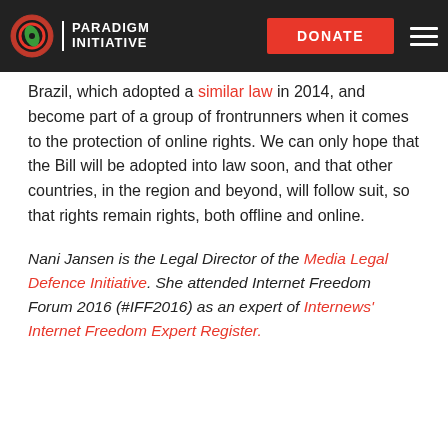PARADIGM INITIATIVE | DONATE
Brazil, which adopted a similar law in 2014, and become part of a group of frontrunners when it comes to the protection of online rights. We can only hope that the Bill will be adopted into law soon, and that other countries, in the region and beyond, will follow suit, so that rights remain rights, both offline and online.
Nani Jansen is the Legal Director of the Media Legal Defence Initiative. She attended Internet Freedom Forum 2016 (#IFF2016) as an expert of Internews' Internet Freedom Expert Register.